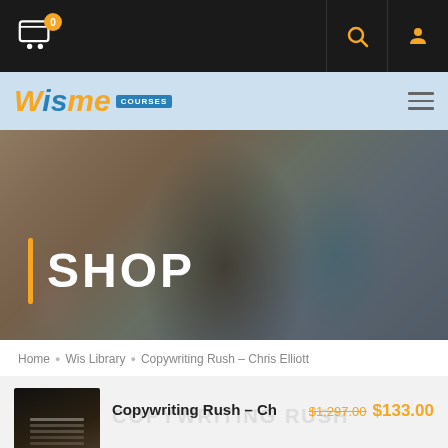Cart (0) | Search | User Account
[Figure (logo): WisMe Courses logo with orange W, blue 'is', orange 'me' and blue COURSES badge]
[Figure (photo): Classroom scene with students, a woman with long dark hair looking upward, and a girl in turquoise top, with SHOP heading overlay]
SHOP
Home • Wis Library • Copywriting Rush – Chris Elliott
Copywriting Rush – Ch
$1,297.00 $133.00
- 1 + Add To Cart